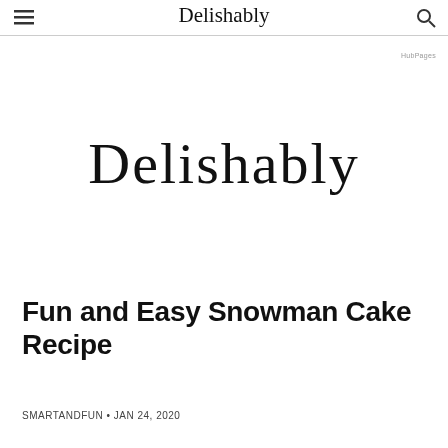Delishably
HubPages
[Figure (logo): Delishably script logo in large cursive font]
Fun and Easy Snowman Cake Recipe
SMARTANDFUN • JAN 24, 2020